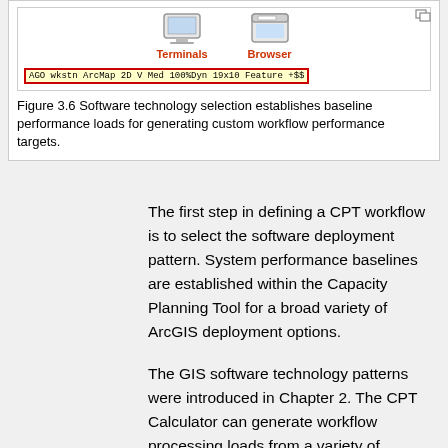[Figure (screenshot): Screenshot showing GIS software interface with Terminals and Browser icons and a toolbar showing 'AGO wkstn ArcMap 2D V Med 100%Dyn 19x10 Feature +$$']
Figure 3.6 Software technology selection establishes baseline performance loads for generating custom workflow performance targets.
The first step in defining a CPT workflow is to select the software deployment pattern. System performance baselines are established within the Capacity Planning Tool for a broad variety of ArcGIS deployment options.
The GIS software technology patterns were introduced in Chapter 2. The CPT Calculator can generate workflow processing loads from a variety of software technology patterns. Your CPT Software technology selection identifies the performance baseline used for generating the selected workflow processing loads.